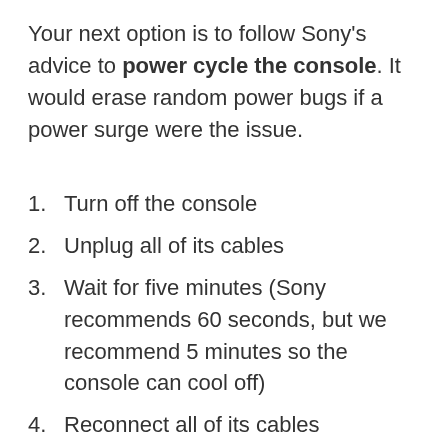Your next option is to follow Sony's advice to power cycle the console. It would erase random power bugs if a power surge were the issue.
1. Turn off the console
2. Unplug all of its cables
3. Wait for five minutes (Sony recommends 60 seconds, but we recommend 5 minutes so the console can cool off)
4. Reconnect all of its cables